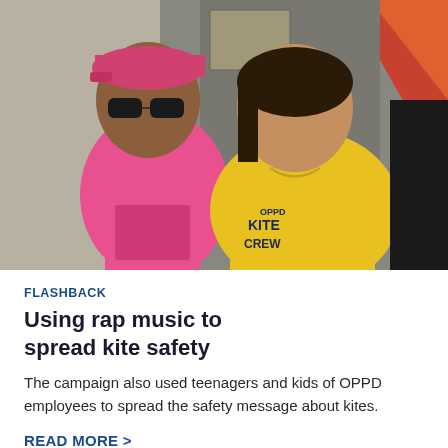[Figure (photo): Two young girls posing together. One on the left wears a pink cap and sunglasses with a pink shirt, and the other on the right wears a yellow shirt that says 'OPPD KITE CREW'. Background includes colorful kite-related imagery.]
FLASHBACK
Using rap music to spread kite safety
The campaign also used teenagers and kids of OPPD employees to spread the safety message about kites.
READ MORE >